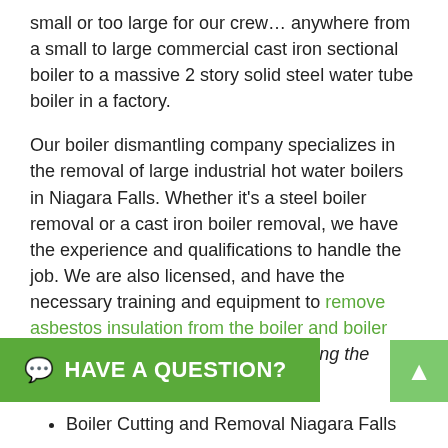small or too large for our crew... anywhere from a small to large commercial cast iron sectional boiler to a massive 2 story solid steel water tube boiler in a factory.
Our boiler dismantling company specializes in the removal of large industrial hot water boilers in Niagara Falls. Whether it's a steel boiler removal or a cast iron boiler removal, we have the experience and qualifications to handle the job. We are also licensed, and have the necessary training and equipment to remove asbestos insulation from the boiler and boiler pipes before dismantling and removing the boiler.
Boiler Cutting and Removal Niagara Falls
Boiler Dismantling Niagara Falls
lls
sassembling
Boiler Asbestos Removal and Disposal